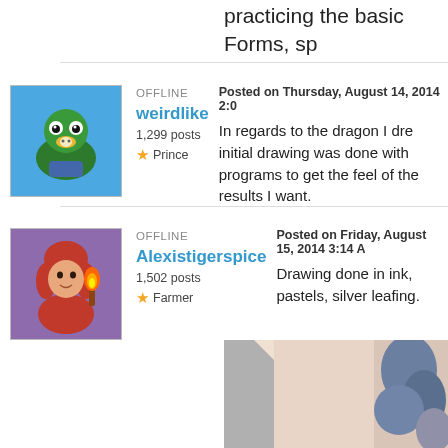practicing the basic Forms, sp a lot of photo references of th
OFFLINE
weirdlike
1,299 posts
Prince
Posted on Thursday, August 14, 2014 2:0
In regards to the dragon I dre initial drawing was done with programs to get the feel of the results I want.
OFFLINE
Alexistigerspice
1,502 posts
Farmer
Posted on Friday, August 15, 2014 3:14 A
Drawing done in ink, pastels, silver leafing.
[Figure (photo): Partial photo of a drawing with ink and pastel techniques, showing a detailed close-up of scales and textures on paper.]